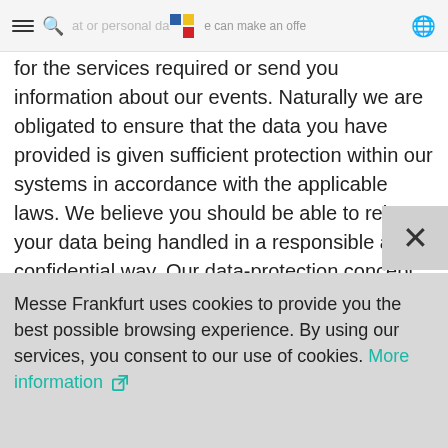data or personal da... can make an offer
for the services required or send you information about our events. Naturally we are obligated to ensure that the data you have provided is given sufficient protection within our systems in accordance with the applicable laws. We believe you should be able to rely on your data being handled in a responsible and confidential way. Our data-protection concept also incorporates contractors who might need your data to carry out an order to your complete satisfaction. It is not our aim to use or pass on personal data without permission a...
Messe Frankfurt uses cookies to provide you the best possible browsing experience. By using our services, you consent to our use of cookies. More information ⧉